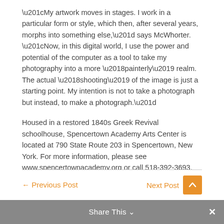“My artwork moves in stages. I work in a particular form or style, which then, after several years, morphs into something else,” says McWhorter. “Now, in this digital world, I use the power and potential of the computer as a tool to take my photography into a more ‘painterly’ realm. The actual ‘shooting’ of the image is just a starting point. My intention is not to take a photograph but instead, to make a photograph.”
Housed in a restored 1840s Greek Revival schoolhouse, Spencertown Academy Arts Center is located at 790 State Route 203 in Spencertown, New York. For more information, please see www.spencertownacademy.org or call 518-392-3693.
#####
← Previous Post    Next Post →
Share This